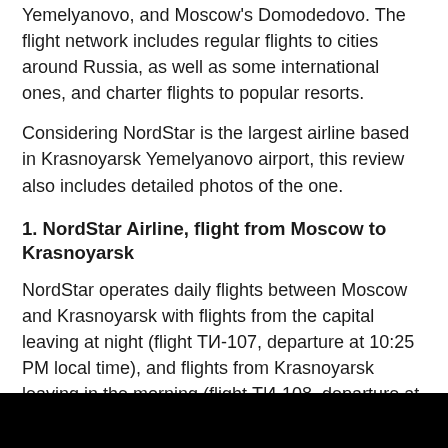Yemelyanovo, and Moscow's Domodedovo. The flight network includes regular flights to cities around Russia, as well as some international ones, and charter flights to popular resorts.
Considering NordStar is the largest airline based in Krasnoyarsk Yemelyanovo airport, this review also includes detailed photos of the one.
1. NordStar Airline, flight from Moscow to Krasnoyarsk
NordStar operates daily flights between Moscow and Krasnoyarsk with flights from the capital leaving at night (flight ТИ-107, departure at 10:25 PM local time), and flights from Krasnoyarsk leaving in the morning (flight ТИ-108, departure at 8:40 AM local time).
In Moscow, the flights depart from Domodedovo.
[Figure (photo): Dark/black image at bottom of page, partial view of a photo]